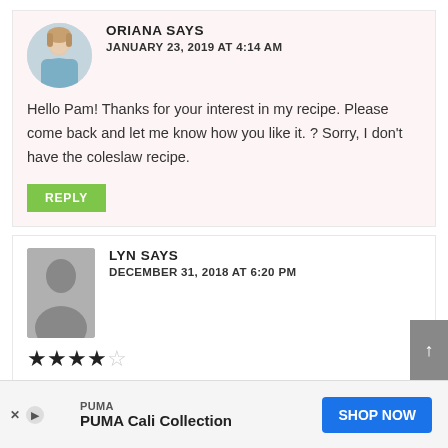ORIANA SAYS
JANUARY 23, 2019 AT 4:14 AM
Hello Pam! Thanks for your interest in my recipe. Please come back and let me know how you like it. ? Sorry, I don't have the coleslaw recipe.
REPLY
LYN SAYS
DECEMBER 31, 2018 AT 6:20 PM
★★★★☆
Never had their coleslaw but I use to love their carrot slaw and I was disappointed when it was gone. But I to tried the superf... by cat recipe,...